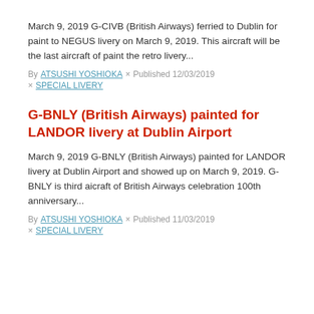March 9, 2019 G-CIVB (British Airways) ferried to Dublin for paint to NEGUS livery on March 9, 2019. This aircraft will be the last aircraft of paint the retro livery...
By ATSUSHI YOSHIOKA × Published 12/03/2019
× SPECIAL LIVERY
G-BNLY (British Airways) painted for LANDOR livery at Dublin Airport
March 9, 2019 G-BNLY (British Airways) painted for LANDOR livery at Dublin Airport and showed up on March 9, 2019. G-BNLY is third aicraft of British Airways celebration 100th anniversary...
By ATSUSHI YOSHIOKA × Published 11/03/2019
× SPECIAL LIVERY